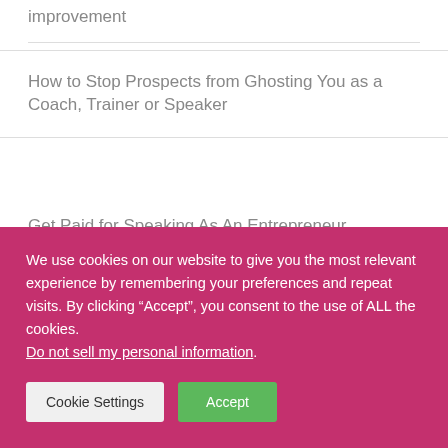improvement
How to Stop Prospects from Ghosting You as a Coach, Trainer or Speaker
Get Paid for Speaking As An Entrepreneur
How Body Shaming Online Will Amplify Ma...
We use cookies on our website to give you the most relevant experience by remembering your preferences and repeat visits. By clicking “Accept”, you consent to the use of ALL the cookies. Do not sell my personal information.
Cookie Settings   Accept